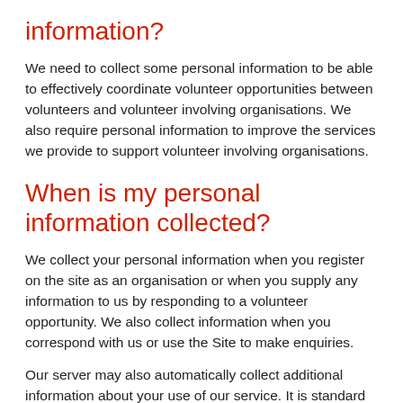information?
We need to collect some personal information to be able to effectively coordinate volunteer opportunities between volunteers and volunteer involving organisations. We also require personal information to improve the services we provide to support volunteer involving organisations.
When is my personal information collected?
We collect your personal information when you register on the site as an organisation or when you supply any information to us by responding to a volunteer opportunity. We also collect information when you correspond with us or use the Site to make enquiries.
Our server may also automatically collect additional information about your use of our service. It is standard for many websites to